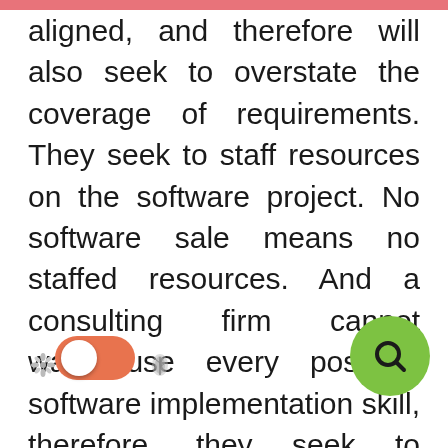aligned, and therefore will also seek to overstate the coverage of requirements. They seek to staff resources on the software project. No software sale means no staffed resources. And a consulting firm cannot warehouse every possible software implementation skill, therefore, they seek to redirect their clients to products for which they have consultants to staff. Large consulting companies will often make recommendations for